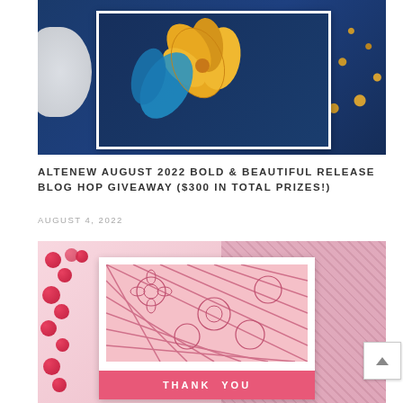[Figure (photo): Handmade greeting card with yellow and blue flowers on a dark navy background, surrounded by gold confetti dots and a white ruffled decoration, on a teal surface]
ALTENEW AUGUST 2022 BOLD & BEAUTIFUL RELEASE BLOG HOP GIVEAWAY ($300 IN TOTAL PRIZES!)
AUGUST 4, 2022
[Figure (photo): Handmade greeting card with pink floral pattern and a 'THANK YOU' banner, surrounded by red pom poms and pink knitted fabric on a white surface]